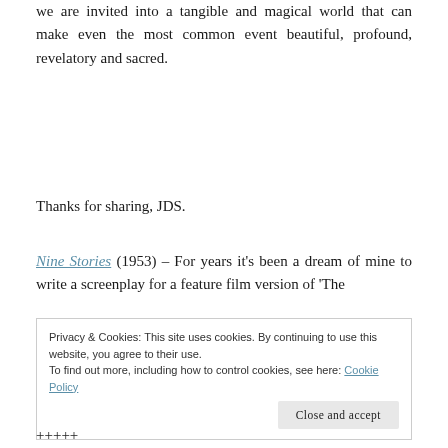we are invited into a tangible and magical world that can make even the most common event beautiful, profound, revelatory and sacred.
Thanks for sharing, JDS.
Nine Stories (1953) – For years it's been a dream of mine to write a screenplay for a feature film version of 'The
Privacy & Cookies: This site uses cookies. By continuing to use this website, you agree to their use.
To find out more, including how to control cookies, see here: Cookie Policy
Close and accept
+++++